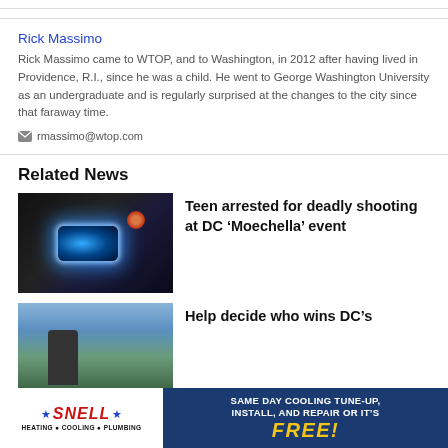Rick Massimo
Rick Massimo came to WTOP, and to Washington, in 2012 after having lived in Providence, R.I., since he was a child. He went to George Washington University as an undergraduate and is regularly surprised at the changes to the city since that faraway time.
rmassimo@wtop.com
Related News
[Figure (photo): Police car with blue flashing lights at night]
Teen arrested for deadly shooting at DC ‘Moechella’ event
[Figure (photo): Person at a baseball stadium]
Help decide who wins DC’s
[Figure (photo): Advertisement banner: SNELL Heating Cooling Plumbing - Same day cooling tune-up, install, and repair or it's FREE!]